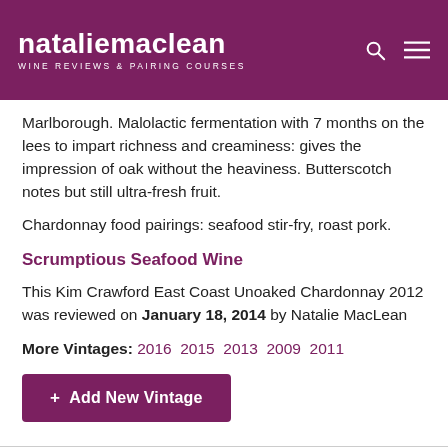natalie maclean — WINE REVIEWS & PAIRING COURSES
Marlborough. Malolactic fermentation with 7 months on the lees to impart richness and creaminess: gives the impression of oak without the heaviness. Butterscotch notes but still ultra-fresh fruit.
Chardonnay food pairings: seafood stir-fry, roast pork.
Scrumptious Seafood Wine
This Kim Crawford East Coast Unoaked Chardonnay 2012 was reviewed on January 18, 2014 by Natalie MacLean
More Vintages: 2016 2015 2013 2009 2011
+ Add New Vintage